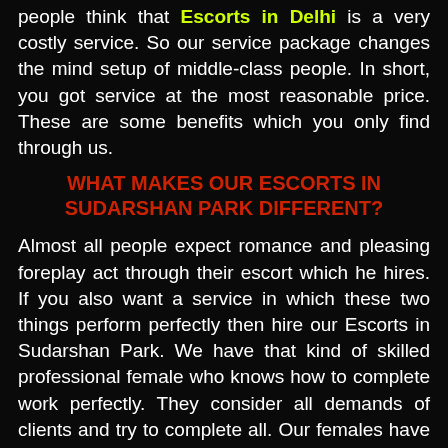people think that Escorts in Delhi is a very costly service. So our service package changes the mind setup of middle-class people. In short, you got service at the most reasonable price. These are some benefits which you only find through us.
WHAT MAKES OUR ESCORTS IN SUDARSHAN PARK DIFFERENT?
Almost all people expect romance and pleasing foreplay act through their escort which he hires. If you also want a service in which these two things perform perfectly then hire our Escorts in Sudarshan Park. We have that kind of skilled professional female who knows how to complete work perfectly. They consider all demands of clients and try to complete all. Our females have full confidence in their talent that's why they take complete guaranty of giving hundred percent satisfaction and unlimited pleasure. She knows what kind of naughty fantasies men have and they also kno...